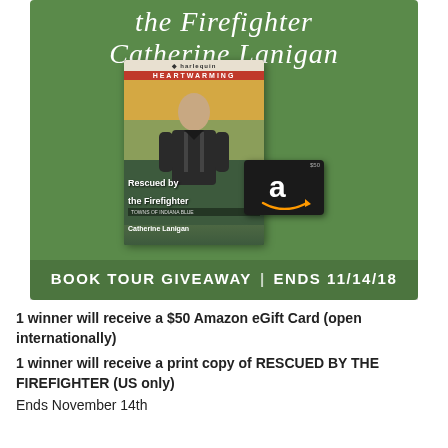[Figure (illustration): Green book tour giveaway banner showing the book cover 'Rescued by the Firefighter' by Catherine Lanigan (Harlequin Heartwarming), with an Amazon gift card overlay. Title text at top reads 'the Firefighter / Catherine Lanigan'. Bottom bar reads 'BOOK TOUR GIVEAWAY | ENDS 11/14/18'.]
1 winner will receive a $50 Amazon eGift Card (open internationally)
1 winner will receive a print copy of RESCUED BY THE FIREFIGHTER (US only)
Ends November 14th